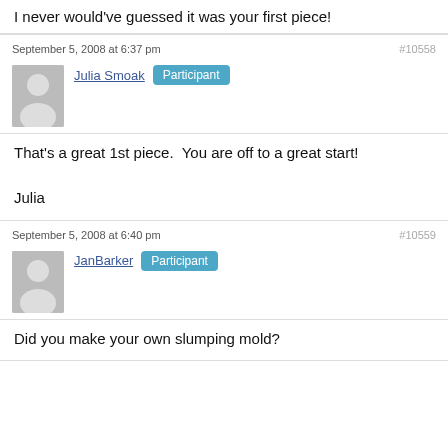I never would've guessed it was your first piece!
September 5, 2008 at 6:37 pm  #10558
Julia Smoak  Participant
That’s a great 1st piece.  You are off to a great start!

Julia
September 5, 2008 at 6:40 pm  #10559
JanBarker  Participant
Did you make your own slumping mold?